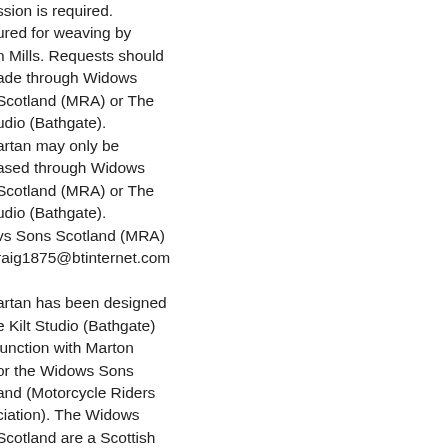ssion is required. ured for weaving by n Mills. Requests should ade through Widows Scotland (MRA) or The udio (Bathgate). artan may only be ased through Widows Scotland (MRA) or The udio (Bathgate). vs Sons Scotland (MRA) raig1875@btinternet.com artan has been designed e Kilt Studio (Bathgate) junction with Marton or the Widows Sons and (Motorcycle Riders ciation). The Widows Scotland are a Scottish l group of Freemasons hare a passion for cycle riding. The tartan s recall the landscape of and and the grey signifies kes. Black is included as k of respect to the ased and gold is ematic of the friendship ellowship that binds the ws Sons together.